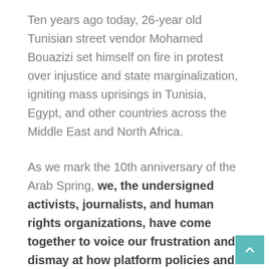Ten years ago today, 26-year old Tunisian street vendor Mohamed Bouazizi set himself on fire in protest over injustice and state marginalization, igniting mass uprisings in Tunisia, Egypt, and other countries across the Middle East and North Africa.
As we mark the 10th anniversary of the Arab Spring, we, the undersigned activists, journalists, and human rights organizations, have come together to voice our frustration and dismay at how platform policies and content moderation procedures all too often lead to the silencing and erasure of critical voices from marginalized and oppressed